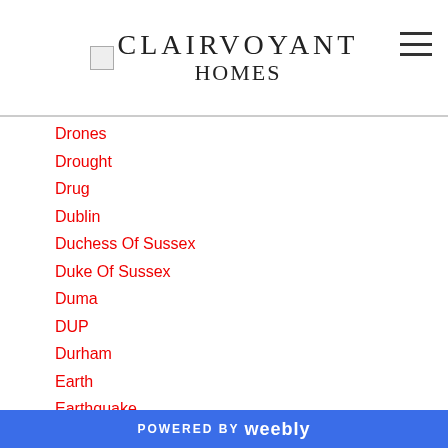CLAIRVOYANT HOMES
Drones
Drought
Drug
Dublin
Duchess Of Sussex
Duke Of Sussex
Duma
DUP
Durham
Earth
Earthquake
Earth's Core
Eastmed
Eastmed Gas Pipeline
Floods
POWERED BY weebly